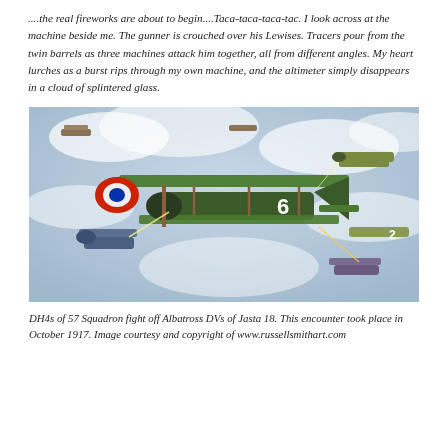....the real fireworks are about to begin....Taca-taca-taca-tac. I look across at the machine beside me. The gunner is crouched over his Lewises. Tracers pour from the twin barrels as three machines attack him together, all from different angles. My heart lurches as a burst rips through my own machine, and the altimeter simply disappears in a cloud of splintered glass.
[Figure (illustration): A painting of WWI biplanes in aerial combat. Several DH4 aircraft with RAF roundels and number markings (including '6' and '2') are shown fighting off Albatross DV fighters among clouds. The scene depicts multiple aircraft from various angles with tracer fire visible.]
DH4s of 57 Squadron fight off Albatross DVs of Jasta 18. This encounter took place in October 1917. Image courtesy and copyright of www.russellsmithart.com